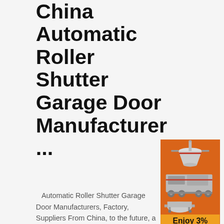China Automatic Roller Shutter Garage Door Manufacturer ...
Automatic Roller Shutter Garage Door Manufacturers, Factory, Suppliers From China, to the future, a long way to go, constantly strive to become the all staff with full enthusiasm, one times the confidence and put our company bu beautiful environment, advanced products, qu class modern enterprise and work hard!
[Figure (illustration): Orange advertisement panel with industrial machinery (crusher/mill equipment) on orange background, with 'Enjoy 3% discount' and 'Click to Chat' buttons, Enquiry section, and email limingjlmofen@sina.com]
China Fast Movin Automatic Roller Door Manufacturer